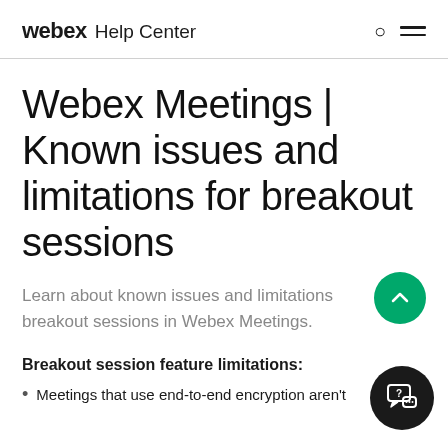webex Help Center
Webex Meetings | Known issues and limitations for breakout sessions
Learn about known issues and limitations breakout sessions in Webex Meetings.
Breakout session feature limitations:
Meetings that use end-to-end encryption aren't